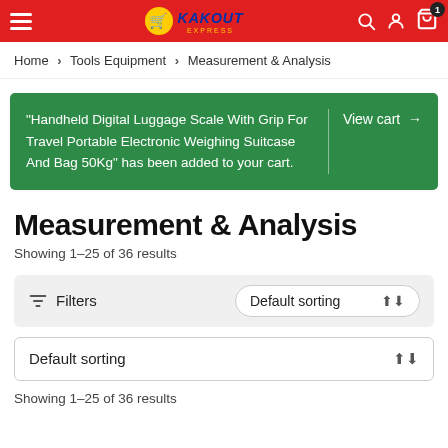KAKOUT Express - navigation bar
Home > Tools Equipment > Measurement & Analysis
"Handheld Digital Luggage Scale With Grip For Travel Portable Electronic Weighing Suitcase And Bag 50Kg" has been added to your cart. View cart →
Measurement & Analysis
Showing 1–25 of 36 results
Filters  Default sorting
Default sorting
Showing 1–25 of 36 results